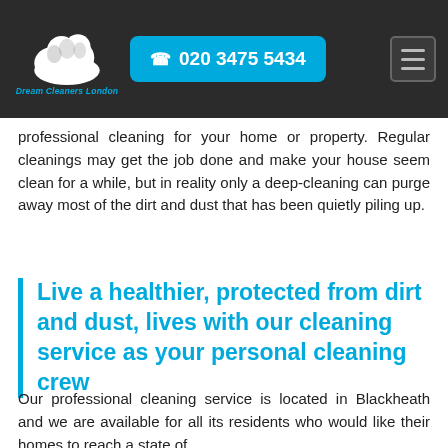Dream Cleaners London | 020 3475 5434
professional cleaning for your home or property. Regular cleanings may get the job done and make your house seem clean for a while, but in reality only a deep-cleaning can purge away most of the dirt and dust that has been quietly piling up.
Live a healthier, protected from dirt and dust, lives with our cleaning service as your personal cleaning crew
Our professional cleaning service is located in Blackheath and we are available for all its residents who would like their homes to reach a state of